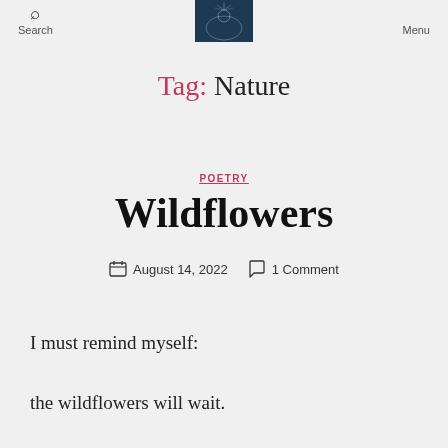Search  Menu
Tag: Nature
POETRY
Wildflowers
August 14, 2022  1 Comment
I must remind myself:
the wildflowers will wait.